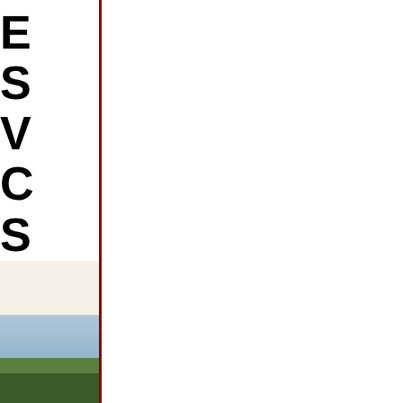E S V C S fr N V
[Figure (photo): Partial landscape photo showing cream/white upper portion and blue-grey sky with green hills and trees in the lower portion, cropped to left edge of page]